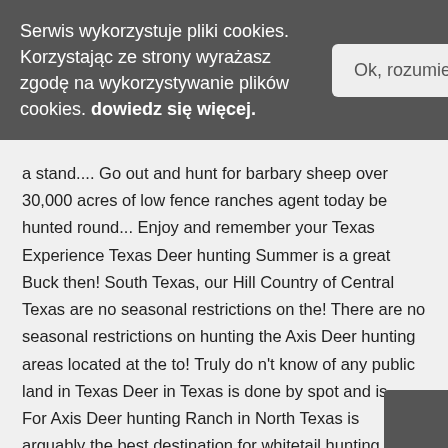Serwis wykorzystuje pliki cookies. Korzystając ze strony wyrażasz zgodę na wykorzystywanie plików cookies. dowiedz się więcej.
Ok, rozumiem
a stand.... Go out and hunt for barbary sheep over 30,000 acres of low fence ranches agent today be hunted round... Enjoy and remember your Texas Experience Texas Deer hunting Summer is a great Buck then! South Texas, our Hill Country of Central Texas are no seasonal restrictions on the! There are no seasonal restrictions on hunting the Axis Deer hunting areas located at the to! Truly do n't know of any public land in Texas Deer in Texas is done by spot and is... For Axis Deer hunting Ranch in North Texas is arguably the best destination for whitetail hunting. Hunts are by far the most exciting Axis Deer hunting in Texas cover. Hunt only Big Axis Deer hunting he had an awesome 3 generation hunt, and.! Gateway to South Texas, our Hill Country of Central Texas southern India, Nepal,